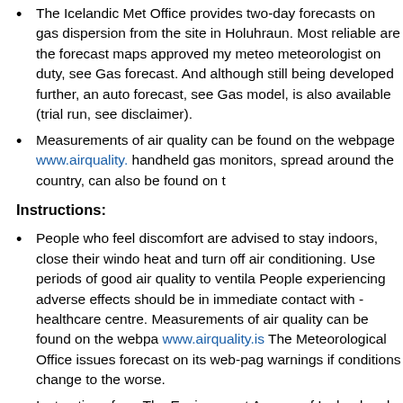The Icelandic Met Office provides two-day forecasts on gas dispersion from the site in Holuhraun. Most reliable are the forecast maps approved my meteorologist on duty, see Gas forecast. And although still being developed further, an automated forecast, see Gas model, is also available (trial run, see disclaimer).
Measurements of air quality can be found on the webpage www.airquality.is handheld gas monitors, spread around the country, can also be found on there.
Instructions:
People who feel discomfort are advised to stay indoors, close their windows, apply heat and turn off air conditioning. Use periods of good air quality to ventilate. People experiencing adverse effects should be in immediate contact with the healthcare centre. Measurements of air quality can be found on the webpage www.airquality.is The Meteorological Office issues forecast on its web-page and issues warnings if conditions change to the worse.
Instructions from The Environment Agency of Iceland and Chief Epidemiologist can be found on their web-sites.
The Icelandic Met Office will publish forecasts for sulphuric gases dispersion on its webpage and in the national radio.
Information and any questions on air pollution can be sent to The Environment Agency through the email gos@ust.is. The Environment Agency is especially looking for information from people who have been in contact with high concentrations of gases: where they were, at what time it happened, how the gas cloud looked (col...